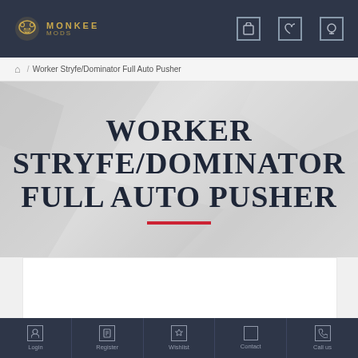MONKEE MODS (navigation bar with logo and icons)
🏠 / Worker Stryfe/Dominator Full Auto Pusher
WORKER STRYFE/DOMINATOR FULL AUTO PUSHER
Login | Register | Wishlist | Contact | Call us